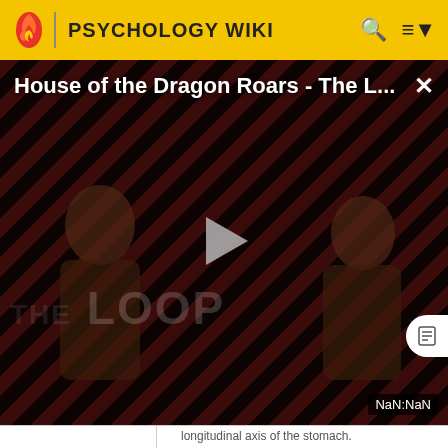PSYCHOLOGY WIKI
[Figure (screenshot): Video player overlay showing 'House of the Dragon Roars - The L...' with play button, striped background, two dark silhouette figures, THE LOOP text, and NaN:NaN timestamp. Close (×) button in top right.]
|  |  |
| --- | --- |
|  | longitudinal axis of the stomach.
outer longituditinal layer: Auerbach's plexus is found between this layer and the middle circular layer. |
| serosa | This layer is under the muscularis |